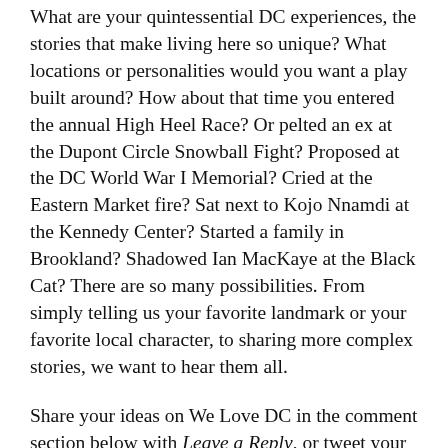What are your quintessential DC experiences, the stories that make living here so unique? What locations or personalities would you want a play built around? How about that time you entered the annual High Heel Race? Or pelted an ex at the Dupont Circle Snowball Fight? Proposed at the DC World War I Memorial? Cried at the Eastern Market fire? Sat next to Kojo Nnamdi at the Kennedy Center? Started a family in Brookland? Shadowed Ian MacKaye at the Black Cat? There are so many possibilities. From simply telling us your favorite landmark or your favorite local character, to sharing more complex stories, we want to hear them all.
Share your ideas on We Love DC in the comment section below with Leave a Reply, or tweet your ideas with hashtag #liveart24 to @liveartdc. We'll select the most promising and creative ideas for the LiveArt in a Day playwrights to choose from, and they'll craft their plays from your themes.
Your love for DC, your life in DC. All in a day. Let's go.